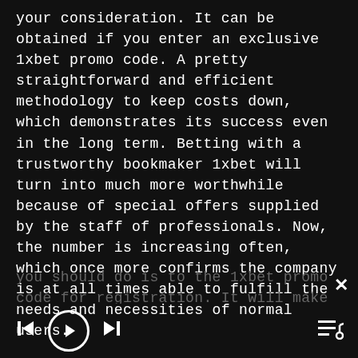your consideration. It can be obtained if you enter an exclusive 1xbet promo code. A pretty straightforward and efficient methodology to keep costs down, which demonstrates its success even in the long term. Betting with a trustworthy bookmaker 1xbet will turn into much more worthwhile because of special offers supplied by the staff of professionals. Now, the number is increasing often, which once more confirms the company is at all times able to fulfill the needs and necessities of normal users.
Additionally, the number of price techniques allows you to make deposit money and withdraw funds in any means practical for the consumer. All you should do is to the 1xbet promo code for registration. It will make you think about your